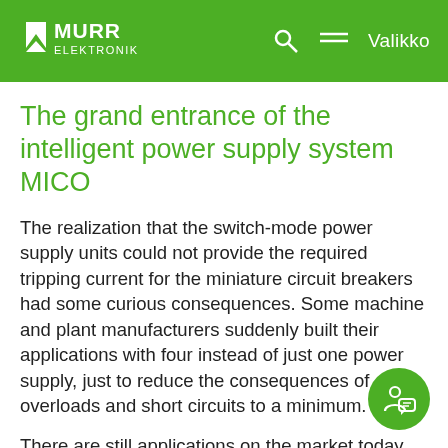Murr Elektronik — Valikko
The grand entrance of the intelligent power supply system MICO
The realization that the switch-mode power supply units could not provide the required tripping current for the miniature circuit breakers had some curious consequences. Some machine and plant manufacturers suddenly built their applications with four instead of just one power supply, just to reduce the consequences of overloads and short circuits to a minimum.
There are still applications on the market today